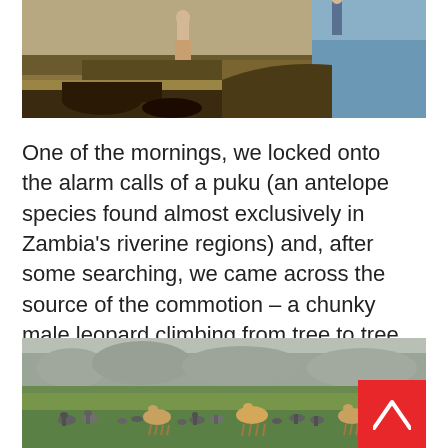[Figure (photo): Outdoor photo showing two people standing on a rocky cliff edge near a river or body of water under bright sunlight. Dry grass and scorched earth visible in the foreground.]
One of the mornings, we locked onto the alarm calls of a puku (an antelope species found almost exclusively in Zambia's riverine regions) and, after some searching, we came across the source of the commotion – a chunky male leopard climbing from tree to tree.
[Figure (photo): Wildlife photo showing a herd of antelope (puku) and a flock of birds (cranes/storks) on a green grassy floodplain with dry trees and misty landscape in the background.]